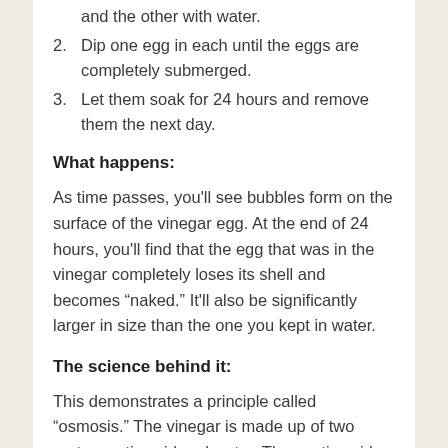and the other with water.
2. Dip one egg in each until the eggs are completely submerged.
3. Let them soak for 24 hours and remove them the next day.
What happens:
As time passes, you'll see bubbles form on the surface of the vinegar egg. At the end of 24 hours, you'll find that the egg that was in the vinegar completely loses its shell and becomes “naked.” It'll also be significantly larger in size than the one you kept in water.
The science behind it:
This demonstrates a principle called “osmosis.” The vinegar is made up of two parts: acetic acid and water. The acetic acid reacted with the eggshell and dissolved it. The water traveled through the egg’s membrane in such a way